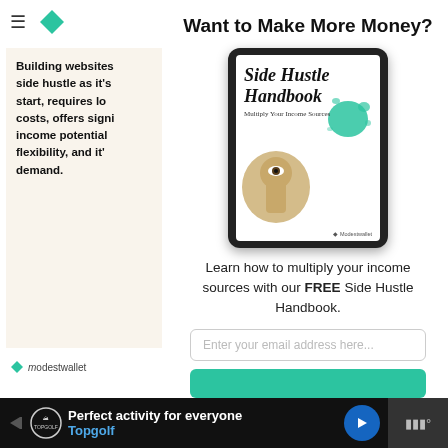[Figure (screenshot): Mobile website navigation bar with hamburger menu icon and green diamond logo for modestwallet]
Building websites side hustle as it's start, requires lo costs, offers signi income potential flexibility, and it' demand.
[Figure (logo): Modestwallet logo with green diamond and brand name]
Want to Make More Money?
[Figure (illustration): Tablet device showing book cover: Side Hustle Handbook - Multiply Your Income Sources, with illustration of an eye through a keyhole and teal paint splatter]
Learn how to multiply your income sources with our FREE Side Hustle Handbook.
Enter your email address here...
[Figure (screenshot): Advertisement bar: Perfect activity for everyone - Topgolf, with blue navigation button and sound icon]